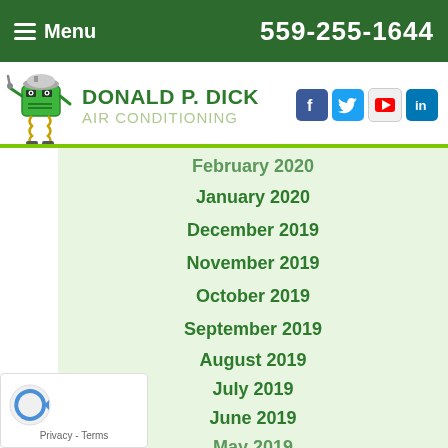Menu  559-255-1644
[Figure (logo): Donald P. Dick Air Conditioning logo with mascot and social media icons (Facebook, Twitter, YouTube, LinkedIn)]
February 2020
January 2020
December 2019
November 2019
October 2019
September 2019
August 2019
July 2019
June 2019
May 2019